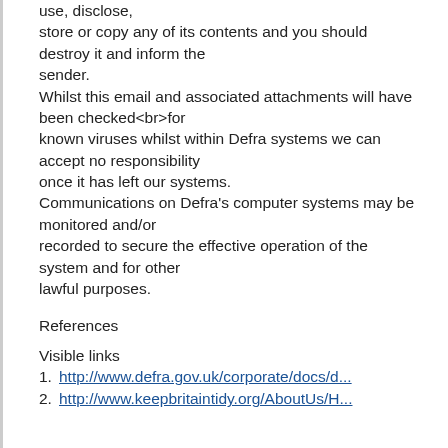use, disclose, store or copy any of its contents and you should destroy it and inform the sender. Whilst this email and associated attachments will have been checked<br>for known viruses whilst within Defra systems we can accept no responsibility once it has left our systems. Communications on Defra's computer systems may be monitored and/or recorded to secure the effective operation of the system and for other lawful purposes.
References
Visible links
1. http://www.defra.gov.uk/corporate/docs/d...
2. http://www.keepbritaintidy.org/AboutUs/H...